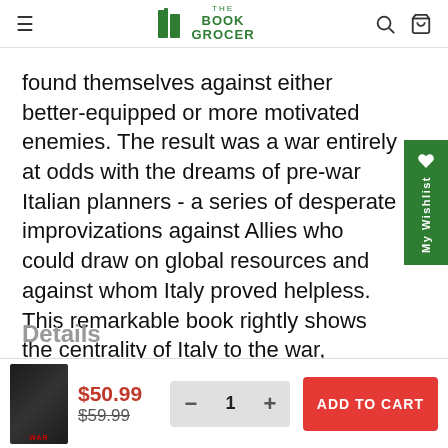The Book Grocer
found themselves against either better-equipped or more motivated enemies. The result was a war entirely at odds with the dreams of pre-war Italian planners - a series of desperate improvizations against Allies who could draw on global resources and against whom Italy proved helpless. This remarkable book rightly shows the centrality of Italy to the war, outlining the brief rise and disastrous fall of the Italian military campaign.
Details
$50.99
$59.99
1
ADD TO CART